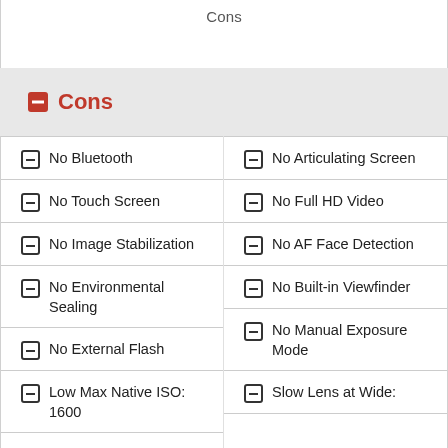Cons
Cons
No Bluetooth
No Touch Screen
No Image Stabilization
No Environmental Sealing
No External Flash
Low Max Native ISO: 1600
No Articulating Screen
No Full HD Video
No AF Face Detection
No Built-in Viewfinder
No Manual Exposure Mode
Slow Lens at Wide: